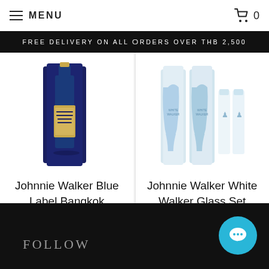MENU  0
FREE DELIVERY ON ALL ORDERS OVER THB 2,500
[Figure (photo): Johnnie Walker Blue Label Bangkok whisky bottle in box packaging]
Johnnie Walker Blue Label Bangkok
Contact us
[Figure (photo): Johnnie Walker White Walker Glass Set - two bottles with two glasses]
Johnnie Walker White Walker Glass Set
3,499.00 ฿
FOLLOW